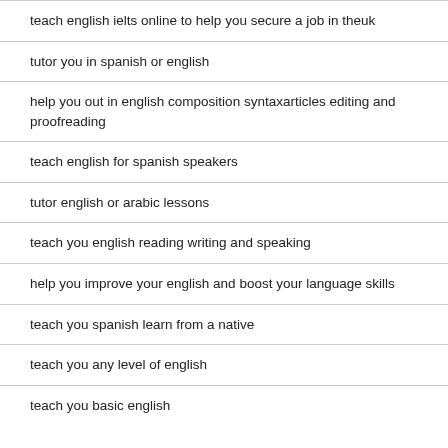teach english ielts online to help you secure a job in theuk
tutor you in spanish or english
help you out in english composition syntaxarticles editing and proofreading
teach english for spanish speakers
tutor english or arabic lessons
teach you english reading writing and speaking
help you improve your english and boost your language skills
teach you spanish learn from a native
teach you any level of english
teach you basic english